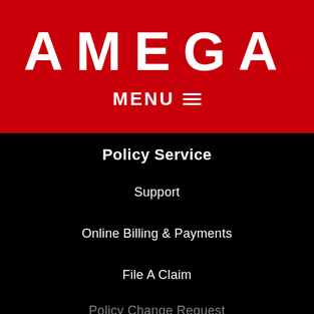AMEGA
MENU ≡
Policy Service
Support
Online Billing & Payments
File A Claim
Policy Change Request